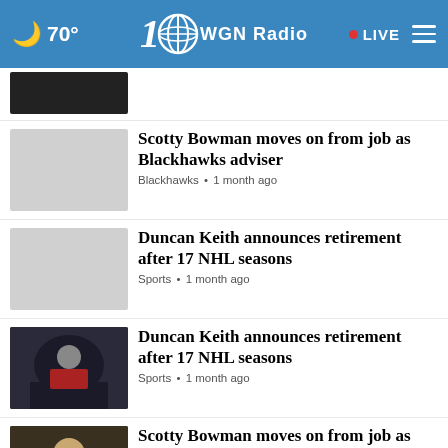WGN Radio • 70° • LIVE
Scotty Bowman moves on from job as Blackhawks adviser — Blackhawks • 1 month ago
Duncan Keith announces retirement after 17 NHL seasons — Sports • 1 month ago
Duncan Keith announces retirement after 17 NHL seasons — Sports • 1 month ago
Scotty Bowman moves on from job as Blackhawks adviser — Sports • 1 month ago
Is Duncan Keith the best defenseman in Blackhawks...
[Figure (screenshot): Advertisement banner: WHAT IS YOUR KID FEELING? GET SONGS TO SOUND IT OUT. Sound It Out / Ad Council / Pivotal]
...as assistant coach